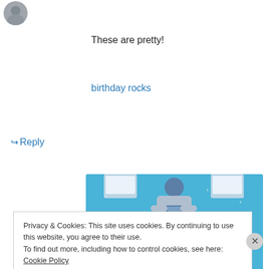[Figure (photo): Small circular avatar/profile photo in top-left corner]
These are pretty!
birthday rocks
↪ Reply
[Figure (illustration): Day One journaling app advertisement banner with blue background, illustration of person holding phone, text reading 'DAY ONE - The only journaling app you'll ever need.']
Privacy & Cookies: This site uses cookies. By continuing to use this website, you agree to their use.
To find out more, including how to control cookies, see here: Cookie Policy
Close and accept